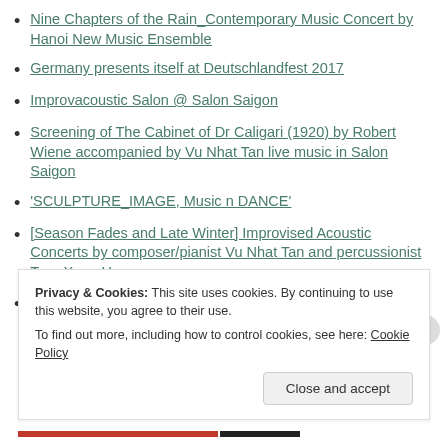Nine Chapters of the Rain_Contemporary Music Concert by Hanoi New Music Ensemble
Germany presents itself at Deutschlandfest 2017
Improvacoustic Salon @ Salon Saigon
Screening of The Cabinet of Dr Caligari (1920) by Robert Wiene accompanied by Vu Nhat Tan live music in Salon Saigon
'SCULPTURE_IMAGE, Music n DANCE'
[Season Fades and Late Winter] Improvised Acoustic Concerts by composer/pianist Vu Nhat Tan and percussionist Tran Xuan Hoa
AUTUMN WIND – CONTEMPORARY MUSIC CONCERT with HANOI NEW MUSIC ENSEMBLE and Dong Kinh Co
Privacy & Cookies: This site uses cookies. By continuing to use this website, you agree to their use. To find out more, including how to control cookies, see here: Cookie Policy